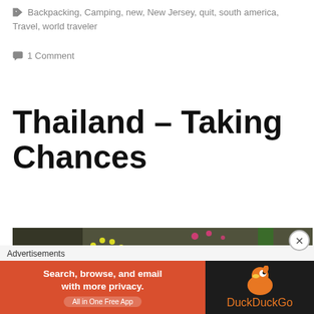Backpacking, Camping, new, New Jersey, quit, south america, Travel, world traveler
1 Comment
Thailand – Taking Chances
[Figure (photo): Graffiti on a wall reading 'if you always do' in pink handwritten text with yellow dot design]
Advertisements
[Figure (infographic): DuckDuckGo advertisement banner: Search, browse, and email with more privacy. All in One Free App. Orange and dark background with DuckDuckGo logo.]